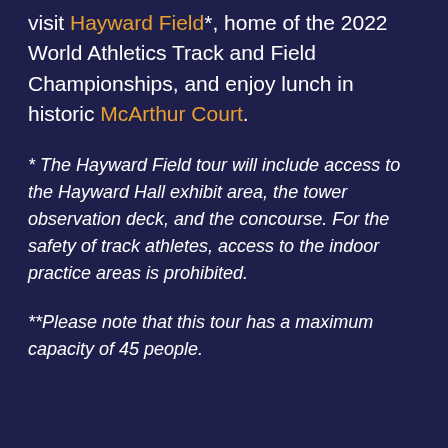visit Hayward Field*, home of the 2022 World Athletics Track and Field Championships, and enjoy lunch in historic McArthur Court.
* The Hayward Field tour will include access to the Hayward Hall exhibit area, the tower observation deck, and the concourse. For the safety of track athletes, access to the indoor practice areas is prohibited.
**Please note that this tour has a maximum capacity of 45 people.